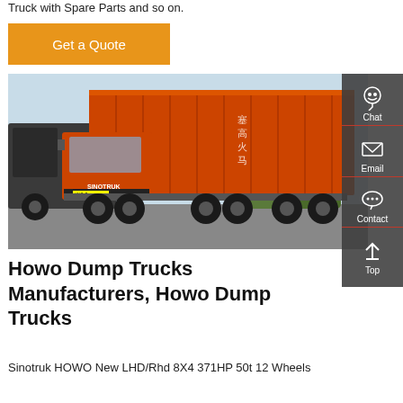Truck with Spare Parts and so on.
[Figure (other): Orange button with text 'Get a Quote']
[Figure (photo): Red Sinotruk HOWO dump truck parked, large orange dump body visible, Chinese characters on side, with another truck partially visible on left, trees in background]
[Figure (other): Dark sidebar with Chat, Email, Contact, and Top navigation icons in white on dark background]
Howo Dump Trucks Manufacturers, Howo Dump Trucks
Sinotruk HOWO New LHD/Rhd 8X4 371HP 50t 12 Wheels